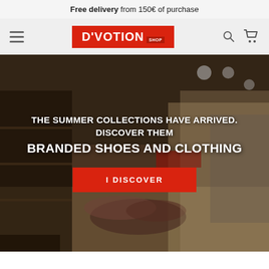Free delivery from 150€ of purchase
[Figure (screenshot): D'VOTION SHOP logo on red background with hamburger menu, search and cart icons in navigation bar]
[Figure (photo): Interior of a shoe and clothing store with shelves full of shoes and clothing items]
THE SUMMER COLLECTIONS HAVE ARRIVED. DISCOVER THEM
BRANDED SHOES AND CLOTHING
I DISCOVER